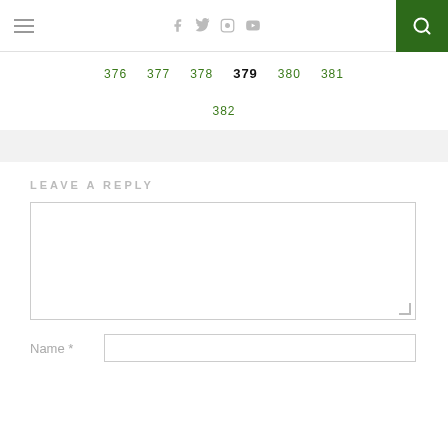Navigation bar with hamburger menu, social icons (Facebook, Twitter, Instagram, YouTube), and search button
376  377  378  379  380  381
382
LEAVE A REPLY
[Comment text area]
Name *